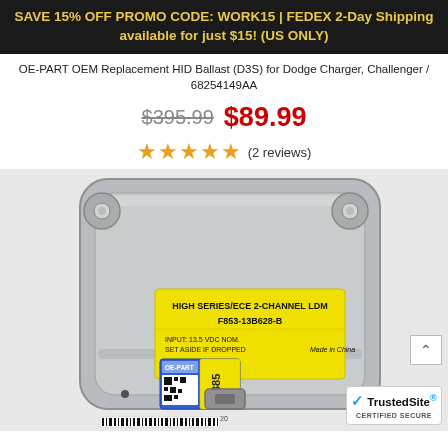SAVE 15% OFF PROMO CODE: WORK15 | FEDEX 2-Day Shipping available for just $15! (US ONLY)
OE-PART OEM Replacement HID Ballast (D3S) for Dodge Charger, Challenger / 68254149AA
$395.99  $89.99
★★★★★ (2 reviews)
[Figure (photo): Photo of an OEM HID ballast module for Dodge Charger/Challenger. The silver/gray metal ballast has a yellow label reading 'HIGH SERIES/ECE 2-CHANNEL LDM', model number 'F853-13B628-B', 'INPUT: 13.5 VDC NOM.', 'SET ASIDE IF DROPPED', and 'Made in China'. There is also a blue OE-PART holographic sticker with a QR code and the number '20385'.]